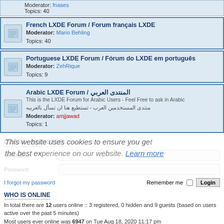Moderator: fnases
Topics: 40
French LXDE Forum / Forum français LXDE
Moderator: Mario Behling
Topics: 40
Portuguese LXDE Forum / Fórum do LXDE em português
Moderator: ZehRique
Topics: 9
Arabic LXDE Forum / المنتدى العربي
This is the LXDE Forum for Arabic Users - Feel Free to ask in Arabic
منتدى المستخدمين العرب - تستطيع هنا ان تسأل بالعربيه
Moderator: amjjawad
Topics: 1
LOGIN • REGISTER
Username:
Password:
I forgot my password
Remember me
This website uses cookies to ensure you get the best experience on our website. Learn more
WHO IS ONLINE
In total there are 12 users online :: 3 registered, 0 hidden and 9 guests (based on users active over the past 5 minutes)
Most users ever online was 6947 on Tue Aug 18, 2020 11:17 pm
STATISTICS
Total posts 11900 • Total topics 2852 • Total members 7408 • Our newest member